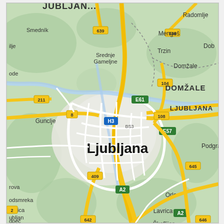[Figure (map): Google Maps style road map of Ljubljana, Slovenia and surrounding areas including Domžale, Mengeš, Radomlje, Trzin, Gunclje, Srednje Gameljne, Orle, Lavrica, Škofljica, Podgra. Shows major roads including E61, E57, A2, H3, and numbered routes 639, 644, 104, 108, 8, 409, 645, 642, 646, 211, BS3.]